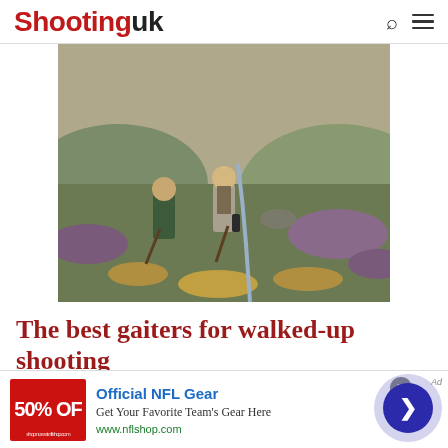Shooting uk
[Figure (photo): Two men in country shooting attire walking up a moorland hillside with sticks/guns, heather and a stream visible in the background.]
The best gaiters for walked-up shooting
[Figure (photo): Partial view of a second article image showing a hillside landscape with overcast sky.]
[Figure (other): Advertisement banner: Official NFL Gear — Get Your Favorite Team's Gear Here — www.nflshop.com — showing 50% OFF red banner image and a navigation arrow button.]